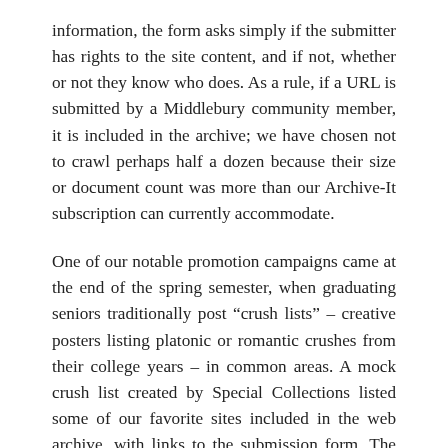information, the form asks simply if the submitter has rights to the site content, and if not, whether or not they know who does. As a rule, if a URL is submitted by a Middlebury community member, it is included in the archive; we have chosen not to crawl perhaps half a dozen because their size or document count was more than our Archive-It subscription can currently accommodate.
One of our notable promotion campaigns came at the end of the spring semester, when graduating seniors traditionally post “crush lists” – creative posters listing platonic or romantic crushes from their college years – in common areas. A mock crush list created by Special Collections listed some of our favorite sites included in the web archive, with links to the submission form. The response was good, and provided URLs for several sites now in the collection. When facilities management began taking down the crush lists, students began posting scans and photographs to Tumblr; the site URL was submitted to the archives and added as a